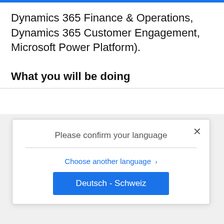Dynamics 365 Finance & Operations, Dynamics 365 Customer Engagement, Microsoft Power Platform).
What you will be doing
[Figure (screenshot): A modal dialog box with close button (×), title 'Please confirm your language', a horizontal divider, a blue link 'Choose another language >', and a blue button labeled 'Deutsch - Schweiz'.]